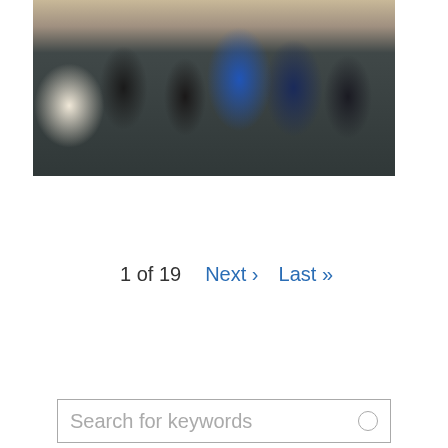[Figure (photo): Group photo of several people standing together indoors. A child in the center holds a framed award/certificate. Adults around the child are dressed formally. The background shows a decorated interior space with patterned carpet.]
1 of 19   Next ›   Last »
Search for keywords